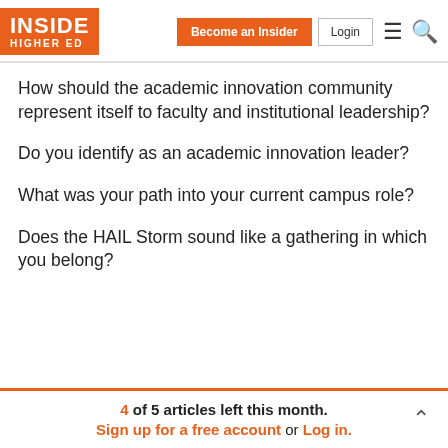INSIDE HIGHER ED | Become an Insider | Login
How should the academic innovation community represent itself to faculty and institutional leadership?
Do you identify as an academic innovation leader?
What was your path into your current campus role?
Does the HAIL Storm sound like a gathering in which you belong?
4 of 5 articles left this month. Sign up for a free account or Log in.